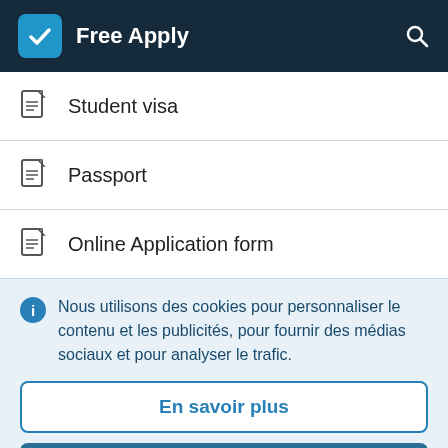Free Apply
Student visa
Passport
Online Application form
Nous utilisons des cookies pour personnaliser le contenu et les publicités, pour fournir des médias sociaux et pour analyser le trafic.
En savoir plus
Accepter